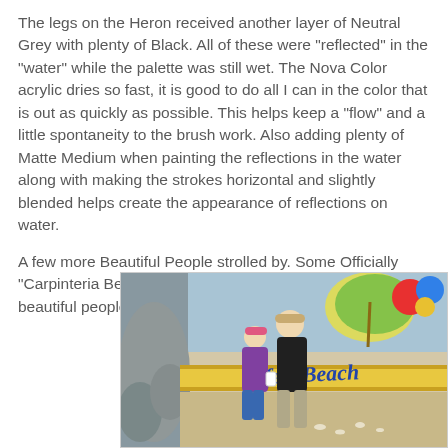The legs on the Heron received another layer of Neutral Grey with plenty of Black. All of these were "reflected" in the "water" while the palette was still wet. The Nova Color acrylic dries so fast, it is good to do all I can in the color that is out as quickly as possible. This helps keep a "flow" and a little spontaneity to the brush work. Also adding plenty of Matte Medium when painting the reflections in the water along with making the strokes horizontal and slightly blended helps create the appearance of reflections on water.
A few more Beautiful People strolled by. Some Officially "Carpinteria Beautiful People" while others are naturally beautiful people.
[Figure (photo): Two people standing in front of a colorful beach mural. One person wears a pink hat and the other a dark jacket and tan pants. The mural shows a beach scene with the text 'fest Beach' visible in blue script on a yellow banner, along with painted rocks, birds, and a beach umbrella.]